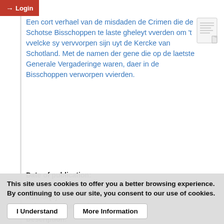Login
Een cort verhael van de misdaden de Crimen die de Schotse Bisschoppen te laste gheleyt vverden om 't vvelcke sy vervvorpen sijn uyt de Kercke van Schotland. Met de namen der gene die op de laetste Generale Vergaderinge waren, daer in de Bisschoppen verworpen vvierden.
Date of publication:
1639
Author(s):
Episcopal Church of Scotland.
Description:
The imprint is false; printed at Amsterdam by the Richt Right Press--STC. Reproduction of the original
This site uses cookies to offer you a better browsing experience. By continuing to use our site, you consent to our use of cookies.
I Understand
More Information